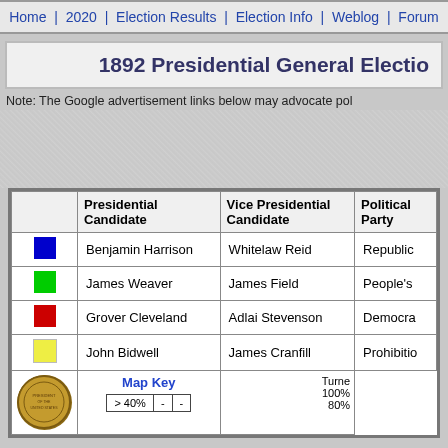Home | 2020 | Election Results | Election Info | Weblog | Forum
1892 Presidential General Electio
Note: The Google advertisement links below may advocate pol
|  | Presidential Candidate | Vice Presidential Candidate | Political Party |
| --- | --- | --- | --- |
| blue | Benjamin Harrison | Whitelaw Reid | Republic |
| green | James Weaver | James Field | People's |
| red | Grover Cleveland | Adlai Stevenson | Democra |
| yellow | John Bidwell | James Cranfill | Prohibitio |
[Figure (other): Presidential seal and Map Key table with turnout chart]
Map Key  > 40% -  -